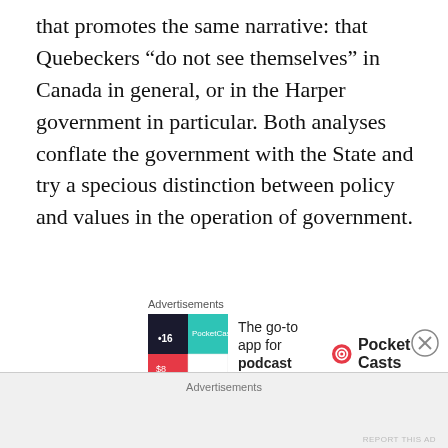that promotes the same narrative: that Quebeckers “do not see themselves” in Canada in general, or in the Harper government in particular. Both analyses conflate the government with the State and try a specious distinction between policy and values in the operation of government.
[Figure (other): Advertisement banner for Pocket Casts app showing colorful app icon and text 'The go-to app for podcast lovers.' with Pocket Casts logo]
First, Canada is not the property of any individual Prime Minister. This is not “Stephen Harper’s Canada”, as the headline in French asserts, simply because the Harper Ministry currently governs Canada. The Canadian federal
Advertisements